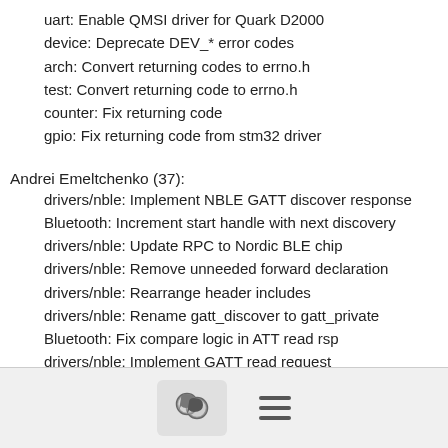uart: Enable QMSI driver for Quark D2000
device: Deprecate DEV_* error codes
arch: Convert returning codes to errno.h
test: Convert returning code to errno.h
counter: Fix returning code
gpio: Fix returning code from stm32 driver
Andrei Emeltchenko (37):
drivers/nble: Implement NBLE GATT discover response
Bluetooth: Increment start handle with next discovery
drivers/nble: Update RPC to Nordic BLE chip
drivers/nble: Remove unneeded forward declaration
drivers/nble: Rearrange header includes
drivers/nble: Rename gatt_discover to gatt_private
Bluetooth: Fix compare logic in ATT read rsp
drivers/nble: Implement GATT read request
Bluetooth/shell: Print handle in hex instead of decimal
Bluetooth/shell: Clear subscription on gatt_unsubscribe()
Bluetooth/sample: Fix exit after first indication sent
[chat icon] [menu icon]